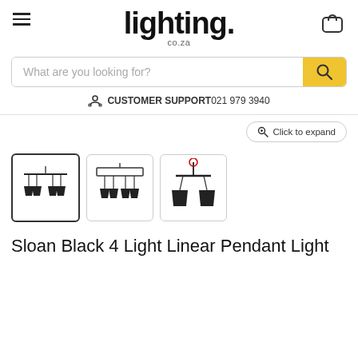lighting. co.za
What are you looking for?
CUSTOMER SUPPORT 021 979 3940
[Figure (photo): Three thumbnail images of the Sloan Black 4 Light Linear Pendant Light from different angles. First thumbnail is selected with a border.]
Sloan Black 4 Light Linear Pendant Light